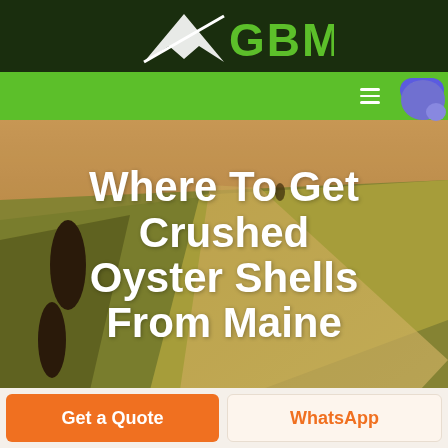[Figure (logo): GBM logo with white arrow/mountain shape on dark green background, with green GBM text]
[Figure (screenshot): Green navigation bar with hamburger menu icon and live chat bubble (purple) on right side]
[Figure (photo): Aerial view of agricultural fields with rolling terrain, warm golden-green tones, two dark tree silhouettes on left]
Where To Get Crushed Oyster Shells From Maine
Get a Quote
WhatsApp